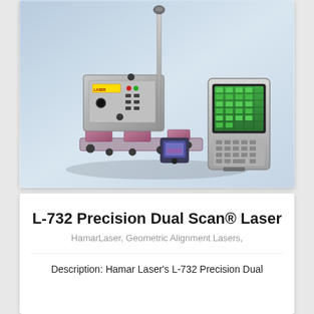[Figure (photo): Photo of the Hamar Laser L-732 Precision Dual Scan Laser system, showing the laser unit mounted on a kinematic mount/stand, accompanied by a handheld PDA/computer with green display, and a small sensor/detector unit, all against a light blue-grey gradient background.]
L-732 Precision Dual Scan® Laser
HamarLaser, Geometric Alignment Lasers,
Description: Hamar Laser's L-732 Precision Dual